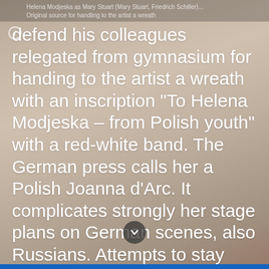Helena Modjeska as Mary Stuart (Mary Stuart, Friedrich Schiller)... Original source for handling to the artist a wreath
defend his colleagues relegated from gymnasium for handing to the artist a wreath with an inscription “To Helena Modjeska – from Polish youth” with a red-white band. The German press calls her a Polish Joanna d’Arc. It complicates strongly her stage plans on German scenes, also Russians. Attempts to stay away from politics doesn’t help.